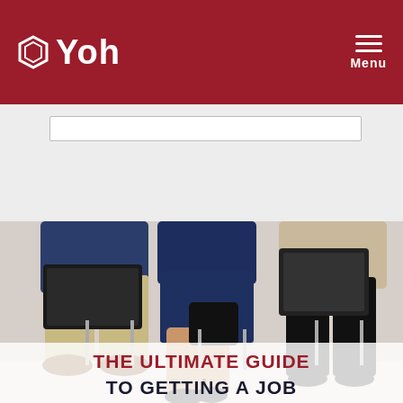Yoh — Menu
[Figure (photo): Three people sitting in chairs in a waiting room/lobby, each holding a tablet or laptop, waiting for a job interview. Text overlay reads 'THE ULTIMATE GUIDE TO GETTING A JOB']